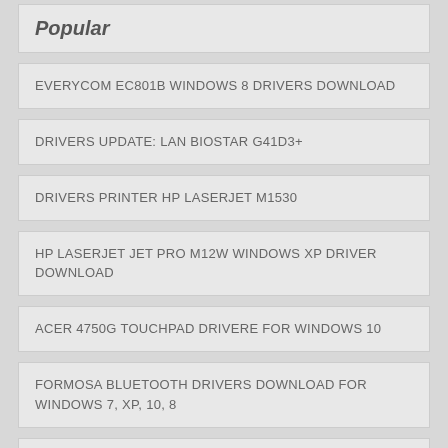Popular
EVERYCOM EC801B WINDOWS 8 DRIVERS DOWNLOAD
DRIVERS UPDATE: LAN BIOSTAR G41D3+
DRIVERS PRINTER HP LASERJET M1530
HP LASERJET JET PRO M12W WINDOWS XP DRIVER DOWNLOAD
ACER 4750G TOUCHPAD DRIVERE FOR WINDOWS 10
FORMOSA BLUETOOTH DRIVERS DOWNLOAD FOR WINDOWS 7, XP, 10, 8
NEW DRIVER: HP PHOTOSMART C3100 PRINTER SERIES